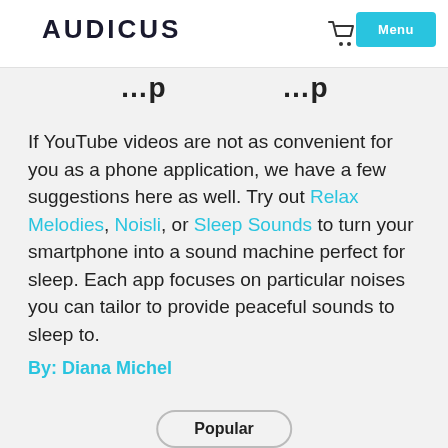AUDICUS
If YouTube videos are not as convenient for you as a phone application, we have a few suggestions here as well. Try out Relax Melodies, Noisli, or Sleep Sounds to turn your smartphone into a sound machine perfect for sleep. Each app focuses on particular noises you can tailor to provide peaceful sounds to sleep to.
By: Diana Michel
Popular